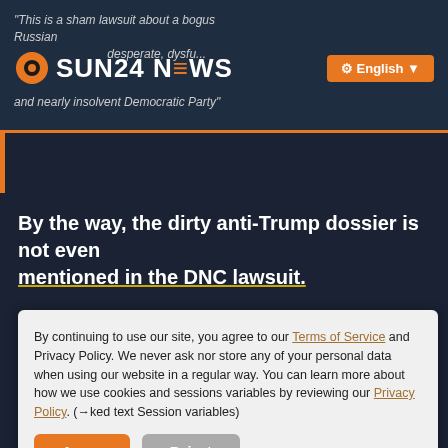"This is a sham lawsuit about a bogus Russian... desperate, dysfunctional, and nearly insolvent Democratic Party"
[Figure (logo): SUN24 NEWS logo with orange sun icon and orange horizontal bar in the N]
English
By the way, the dirty anti-Trump dossier is not even mentioned in the DNC lawsuit.
Instead, another US Intelligence Committee's report from March 22, 2018 proves that the dossier was continued to be paid for even after Trump's inauguration in January 2017. A total of around two million US dollars is estimated, not just from the Democratic Party, but also from individuals from No... report. The linked text passages... which are removed a few weeks later and since th... in a different light on the verdict of Trump's ... Security Advisor and General Michael Flynn.
By continuing to use our site, you agree to our Terms of Service and Privacy Policy. We never ask nor store any of your personal data when using our website in a regular way. You can learn more about how we use cookies and sessions variables by reviewing our Privacy Policy. (→ked text Session variables)
Agree
Reject